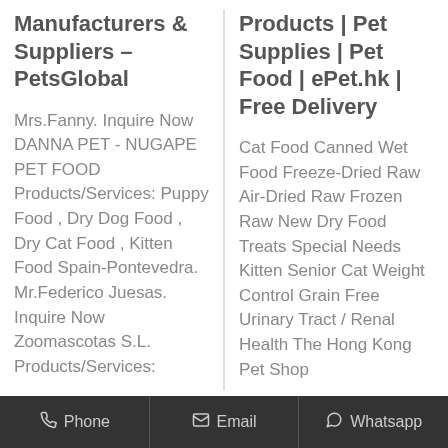Manufacturers & Suppliers - PetsGlobal
Mrs.Fanny. Inquire Now DANNA PET - NUGAPE PET FOOD Products/Services: Puppy Food , Dry Dog Food , Dry Cat Food , Kitten Food Spain-Pontevedra. Mr.Federico Juesas. Inquire Now Zoomascotas S.L. Products/Services:
Products | Pet Supplies | Pet Food | ePet.hk | Free Delivery
Cat Food Canned Wet Food Freeze-Dried Raw Air-Dried Raw Frozen Raw New Dry Food Treats Special Needs Kitten Senior Cat Weight Control Grain Free Urinary Tract / Renal Health The Hong Kong Pet Shop
Phone   Email   Whatsapp